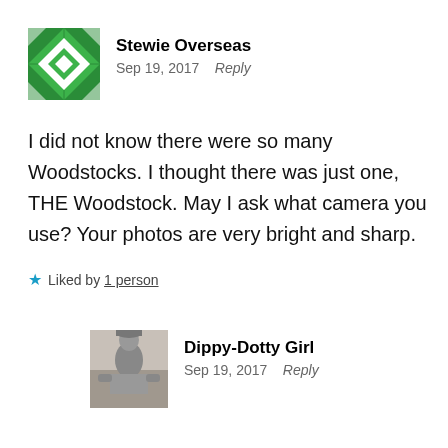[Figure (illustration): Green geometric quilt-pattern avatar for user Stewie Overseas]
Stewie Overseas
Sep 19, 2017   Reply
I did not know there were so many Woodstocks. I thought there was just one, THE Woodstock. May I ask what camera you use? Your photos are very bright and sharp.
★ Liked by 1 person
[Figure (photo): Black and white photo avatar of a person for user Dippy-Dotty Girl]
Dippy-Dotty Girl
Sep 19, 2017   Reply